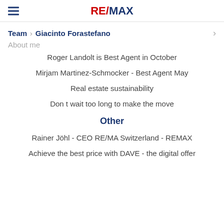RE/MAX
Team > Giacinto Forastefano
About me
Roger Landolt is Best Agent in October
Mirjam Martinez-Schmocker - Best Agent May
Real estate sustainability
Don t wait too long to make the move
Other
Rainer Jöhl - CEO RE/MA Switzerland - REMAX
Achieve the best price with DAVE - the digital offer